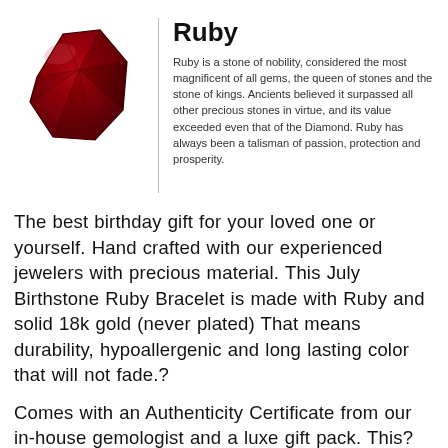[Figure (photo): A red ruby gemstone crystal, faceted, deep red color, photographed on white background]
Ruby
Ruby is a stone of nobility, considered the most magnificent of all gems, the queen of stones and the stone of kings. Ancients believed it surpassed all other precious stones in virtue, and its value exceeded even that of the Diamond. Ruby has always been a talisman of passion, protection and prosperity.
The best birthday gift for your loved one or yourself. Hand crafted with our experienced jewelers with precious material. This July Birthstone Ruby Bracelet is made with Ruby and solid 18k gold (never plated) That means durability, hypoallergenic and long lasting color that will not fade.?
Comes with an Authenticity Certificate from our in-house gemologist and a luxe gift pack. This?simple yet elegant bracelet will win you all the compliments. It could be wear alone or pair with the 18k Gold July Birthstone Ruby Chain Ring